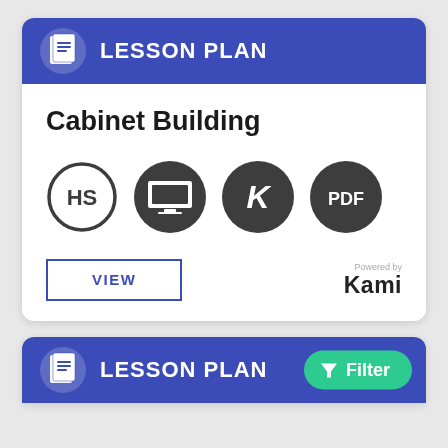[Figure (screenshot): Lesson Plan card with blue header showing document icon and LESSON PLAN title, white body with Cabinet Building title, four icons (HS badge, presentation screen, K logo, PDF badge), a VIEW button, and Powered by Kami branding]
Cabinet Building
[Figure (logo): Powered by Kami logo]
[Figure (screenshot): Second Lesson Plan card header with blue background, document icon, LESSON PLAN text, and a green Filter button with funnel icon]